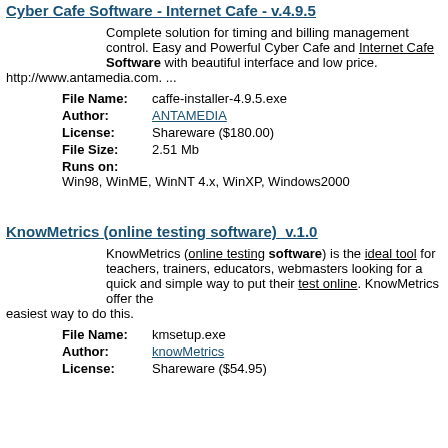Cyber Cafe Software - Internet Cafe - v.4.9.5
Complete solution for timing and billing management control. Easy and Powerful Cyber Cafe and Internet Cafe Software with beautiful interface and low price. http://www.antamedia.com. ...
File Name: caffe-installer-4.9.5.exe
Author: ANTAMEDIA
License: Shareware ($180.00)
File Size: 2.51 Mb
Runs on: Win98, WinME, WinNT 4.x, WinXP, Windows2000
KnowMetrics (online testing software)  v.1.0
KnowMetrics (online testing software) is the ideal tool for teachers, trainers, educators, webmasters looking for a quick and simple way to put their test online. KnowMetrics offer the easiest way to do this.
File Name: kmsetup.exe
Author: knowMetrics
License: Shareware ($54.95)